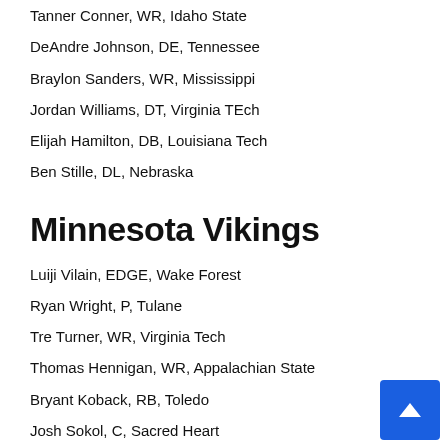Tanner Conner, WR, Idaho State
DeAndre Johnson, DE, Tennessee
Braylon Sanders, WR, Mississippi
Jordan Williams, DT, Virginia TEch
Elijah Hamilton, DB, Louisiana Tech
Ben Stille, DL, Nebraska
Minnesota Vikings
Luiji Vilain, EDGE, Wake Forest
Ryan Wright, P, Tulane
Tre Turner, WR, Virginia Tech
Thomas Hennigan, WR, Appalachian State
Bryant Koback, RB, Toledo
Josh Sokol, C, Sacred Heart
Tyarise Stevenson, DT, Tulsa